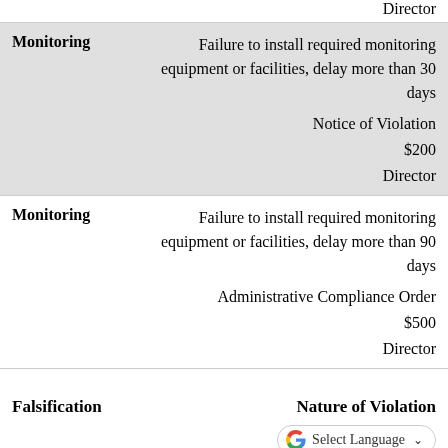| Category | Details |
| --- | --- |
| Director |  |
| Monitoring | Failure to install required monitoring equipment or facilities, delay more than 30 days
Notice of Violation
$200
Director |
| Monitoring | Failure to install required monitoring equipment or facilities, delay more than 90 days
Administrative Compliance Order
$500
Director |
Falsification    Nature of Violation
Penalty